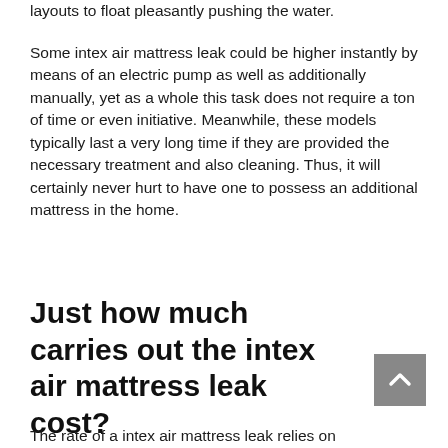layouts to float pleasantly pushing the water.
Some intex air mattress leak could be higher instantly by means of an electric pump as well as additionally manually, yet as a whole this task does not require a ton of time or even initiative. Meanwhile, these models typically last a very long time if they are provided the necessary treatment and also cleaning. Thus, it will certainly never hurt to have one to possess an additional mattress in the home.
Just how much carries out the intex air mattress leak cost?
The rate of a intex air mattress leak relies on